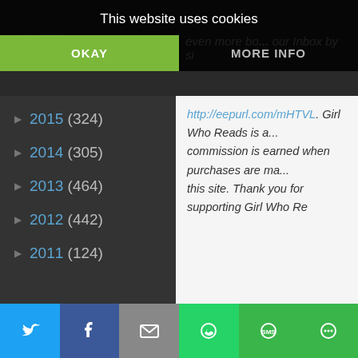This website uses cookies
OKAY
MORE INFO
▶ 2015 (324)
▶ 2014 (305)
▶ 2013 (464)
▶ 2012 (442)
▶ 2011 (124)
http://eepurl.com/mHTVL. Girl Who Reads is a... commission is earned when purchases are ma... this site. Thank you for supporting Girl Who Re...
[Figure (screenshot): Bottom social share bar with Twitter, Facebook, Email, WhatsApp, SMS, and More icons]